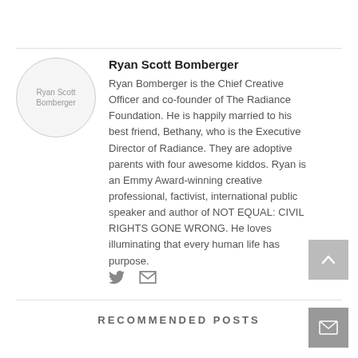[Figure (photo): Circular avatar image placeholder for Ryan Scott Bomberger]
Ryan Scott Bomberger
Ryan Bomberger is the Chief Creative Officer and co-founder of The Radiance Foundation. He is happily married to his best friend, Bethany, who is the Executive Director of Radiance. They are adoptive parents with four awesome kiddos. Ryan is an Emmy Award-winning creative professional, factivist, international public speaker and author of NOT EQUAL: CIVIL RIGHTS GONE WRONG. He loves illuminating that every human life has purpose.
[Figure (other): Social media icons: Twitter bird and envelope/email icon]
RECOMMENDED POSTS